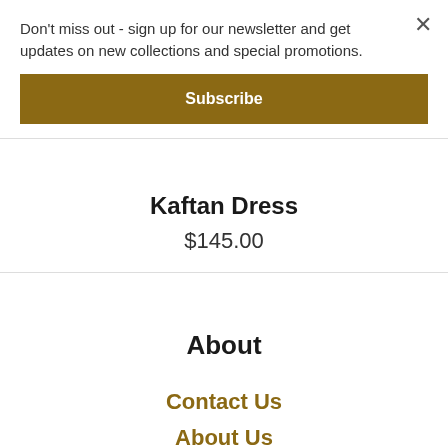Don't miss out - sign up for our newsletter and get updates on new collections and special promotions.
Subscribe
Kaftan Dress
$145.00
About
Contact Us
About Us